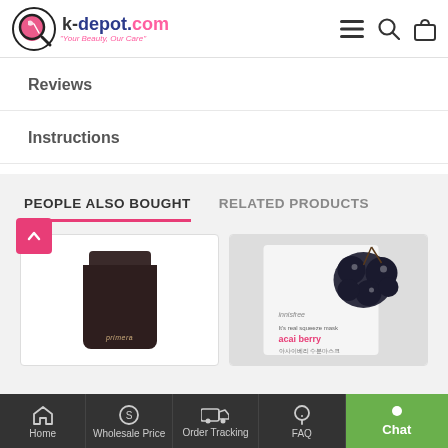k-depot.com — Your Beauty, Our Care
Reviews
Instructions
PEOPLE ALSO BOUGHT | RELATED PRODUCTS
[Figure (photo): Primera product jar (dark brown) — product card]
[Figure (photo): Innisfree acai berry sheet mask product card]
Home | Wholesale Price | Order Tracking | FAQ | Chat